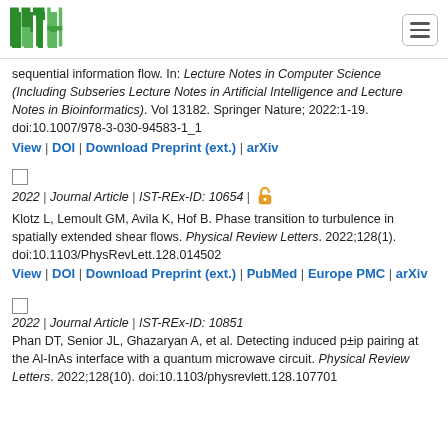ISTA logo and navigation
sequential information flow. In: Lecture Notes in Computer Science (Including Subseries Lecture Notes in Artificial Intelligence and Lecture Notes in Bioinformatics). Vol 13182. Springer Nature; 2022:1-19. doi:10.1007/978-3-030-94583-1_1
View | DOI | Download Preprint (ext.) | arXiv
2022 | Journal Article | IST-REx-ID: 10654 | [open access]
Klotz L, Lemoult GM, Avila K, Hof B. Phase transition to turbulence in spatially extended shear flows. Physical Review Letters. 2022;128(1). doi:10.1103/PhysRevLett.128.014502
View | DOI | Download Preprint (ext.) | PubMed | Europe PMC | arXiv
2022 | Journal Article | IST-REx-ID: 10851
Phan DT, Senior JL, Ghazaryan A, et al. Detecting induced p±ip pairing at the Al-InAs interface with a quantum microwave circuit. Physical Review Letters. 2022;128(10). doi:10.1103/physrevlett.128.107701